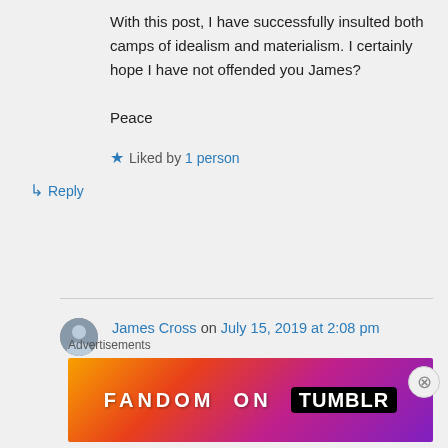With this post, I have successfully insulted both camps of idealism and materialism. I certainly hope I have not offended you James?

Peace
★ Liked by 1 person
↳ Reply
James Cross on July 15, 2019 at 2:08 pm
Advertisements
[Figure (infographic): Fandom on Tumblr colorful advertisement banner with gradient orange to purple background]